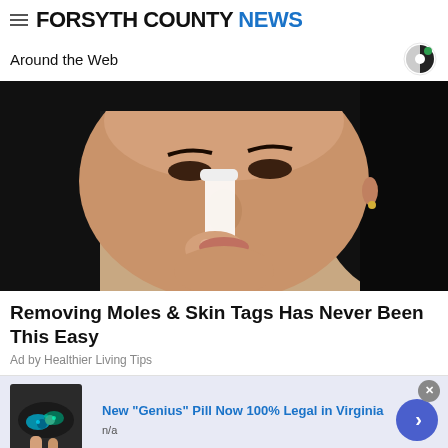FORSYTH COUNTY NEWS
Around the Web
[Figure (photo): Woman applying toothpaste or white substance to her nose with a toothbrush, close-up beauty/skincare image]
Removing Moles & Skin Tags Has Never Been This Easy
Ad by Healthier Living Tips
[Figure (photo): Small advertisement thumbnail showing colorful pills or candy]
New "Genius" Pill Now 100% Legal in Virginia
n/a